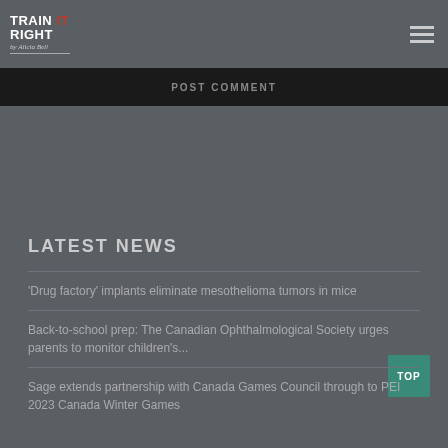Train It Right by Alicia Bell
POST COMMENT
LATEST NEWS
'Drug factory' implants eliminate mesothelioma tumors in mice
Back-to-school prep: The Canadian Ophthalmological Society urges parents to monitor children's...
Sage extends partnership with Canada Games Council through to PEI 2023 Canada Winter Games